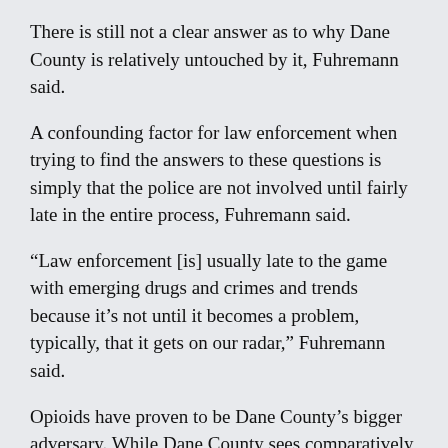There is still not a clear answer as to why Dane County is relatively untouched by it, Fuhremann said.
A confounding factor for law enforcement when trying to find the answers to these questions is simply that the police are not involved until fairly late in the entire process, Fuhremann said.
“Law enforcement [is] usually late to the game with emerging drugs and crimes and trends because it’s not until it becomes a problem, typically, that it gets on our radar,” Fuhremann said.
Opioids have proven to be Dane County’s bigger adversary. While Dane County sees comparatively few meth-related deaths, Fuhremann said there is “easily” a death a week in Dane County due to opioid overdoses.